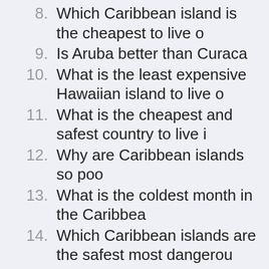8. Which Caribbean island is the cheapest to live o
9. Is Aruba better than Curaca
10. What is the least expensive Hawaiian island to live o
11. What is the cheapest and safest country to live i
12. Why are Caribbean islands so poo
13. What is the coldest month in the Caribbea
14. Which Caribbean islands are the safest most dangerou
15. What is the friendliest Caribbean islan